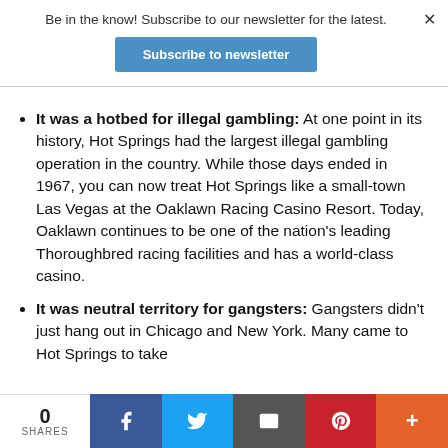Be in the know! Subscribe to our newsletter for the latest.
Subscribe to newsletter
It was a hotbed for illegal gambling: At one point in its history, Hot Springs had the largest illegal gambling operation in the country. While those days ended in 1967, you can now treat Hot Springs like a small-town Las Vegas at the Oaklawn Racing Casino Resort. Today, Oaklawn continues to be one of the nation's leading Thoroughbred racing facilities and has a world-class casino.
It was neutral territory for gangsters: Gangsters didn't just hang out in Chicago and New York. Many came to Hot Springs to take
0 SHARES | Facebook | Twitter | Email | Pinterest | More